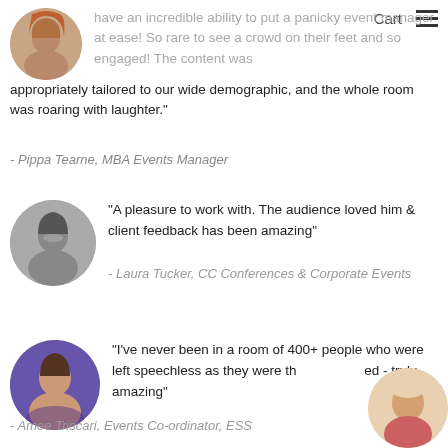Cart
...have an incredible ability to put a panicky event manager at ease! So rare to see a crowd on their feet and so engaged! The content was appropriately tailored to our wide demographic, and the whole room was roaring with laughter.
- Pippa Tearne, MBA Events Manager
"A pleasure to work with. The audience loved him & client feedback has been amazing"
- Laura Tucker, CC Conferences & Corporate Events
"I've never been in a room of 400+ people who were left speechless as they were that - truly amazing"
- Amee Triscari, Events Co-ordinator, ESS